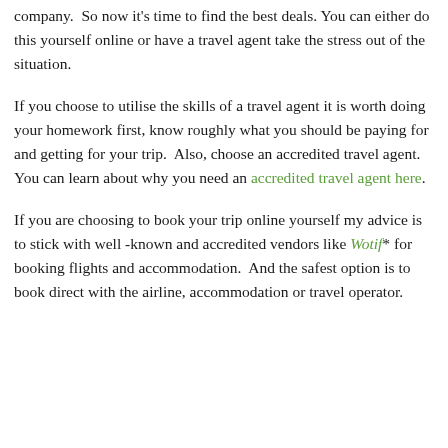company.  So now it's time to find the best deals.  You can either do this yourself online or have a travel agent take the stress out of the situation.
If you choose to utilise the skills of a travel agent it is worth doing your homework first, know roughly what you should be paying for and getting for your trip.  Also, choose an accredited travel agent.  You can learn about why you need an accredited travel agent here.
If you are choosing to book your trip online yourself my advice is to stick with well -known and accredited vendors like Wotif* for booking flights and accommodation.  And the safest option is to book direct with the airline, accommodation or travel operator.